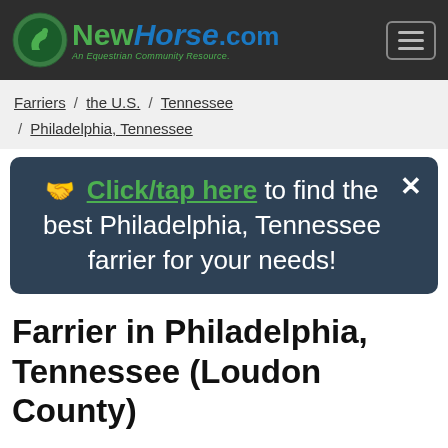NewHorse.com — An Equestrian Community Resource.
Farriers / the U.S. / Tennessee / Philadelphia, Tennessee
👋 Click/tap here to find the best Philadelphia, Tennessee farrier for your needs!
Farrier in Philadelphia, Tennessee (Loudon County)